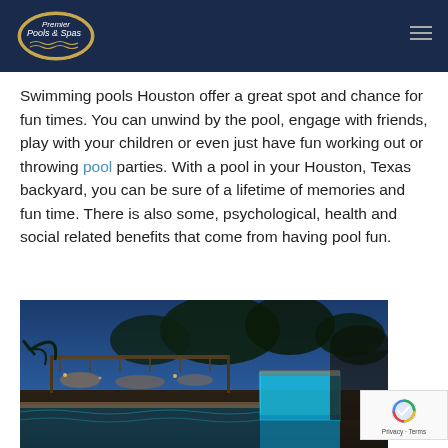Premier Pools & Spas
Swimming pools Houston offer a great spot and chance for fun times. You can unwind by the pool, engage with friends, play with your children or even just have fun working out or throwing pool parties. With a pool in your Houston, Texas backyard, you can be sure of a lifetime of memories and fun time. There is also some, psychological, health and social related benefits that come from having pool fun.
[Figure (photo): Nighttime photograph of a luxury backyard pool with illuminated blue water feature, covered patio structure with lights, and trees in background.]